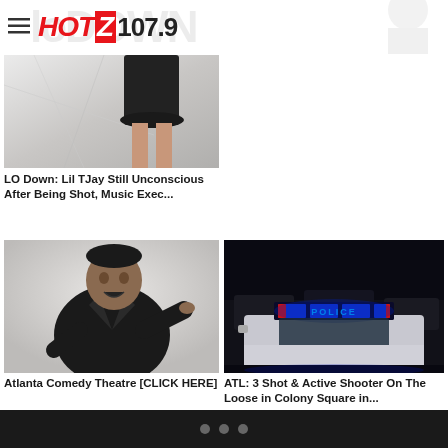[Figure (logo): HOT 107.9 radio station logo with hamburger menu icon]
[Figure (photo): Partial photo of woman in black dress, white background, cropped at top]
LO Down: Lil TJay Still Unconscious After Being Shot, Music Exec...
[Figure (photo): Heavy-set man in black leather jacket pointing at camera, white background]
Atlanta Comedy Theatre [CLICK HERE]
[Figure (photo): Police car with blue LED light bar showing POLICE text at night]
ATL: 3 Shot & Active Shooter On The Loose in Colony Square in...
[Figure (other): Pagination dots indicator at bottom - three dots]